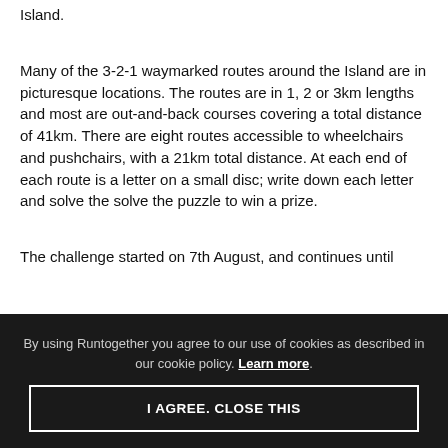Island.
Many of the 3-2-1 waymarked routes around the Island are in picturesque locations.  The routes are in 1, 2 or 3km lengths and most are out-and-back courses covering a total distance of 41km. There are eight routes accessible to wheelchairs and pushchairs, with a 21km total distance.  At each end of each route is a letter on a small disc; write down each letter and solve the solve the puzzle to win a prize.
The challenge started on 7th August, and continues until
By using Runtogether you agree to our use of cookies as described in our cookie policy. Learn more.
I AGREE. CLOSE THIS